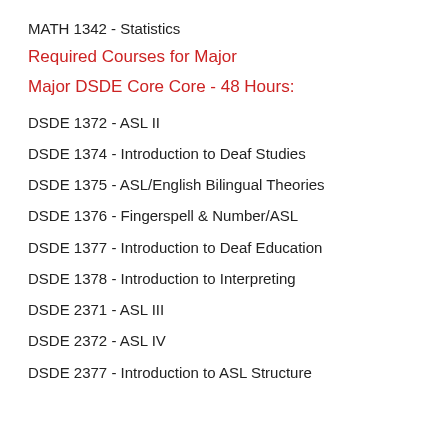MATH 1342 - Statistics
Required Courses for Major
Major DSDE Core Core - 48 Hours:
DSDE 1372 - ASL II
DSDE 1374 - Introduction to Deaf Studies
DSDE 1375 - ASL/English Bilingual Theories
DSDE 1376 - Fingerspell & Number/ASL
DSDE 1377 - Introduction to Deaf Education
DSDE 1378 - Introduction to Interpreting
DSDE 2371 - ASL III
DSDE 2372 - ASL IV
DSDE 2377 - Introduction to ASL Structure